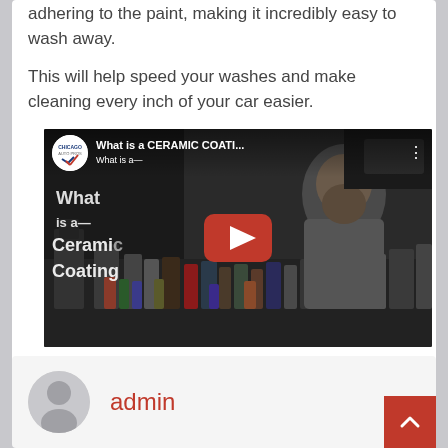adhering to the paint, making it incredibly easy to wash away.
This will help speed your washes and make cleaning every inch of your car easier.
[Figure (screenshot): YouTube video thumbnail for 'What is a CERAMIC COATI...' by Chicago Auto Pros, showing a bearded man behind a table of car care products with text 'What is a Ceramic Coating?' and a red play button overlay.]
admin